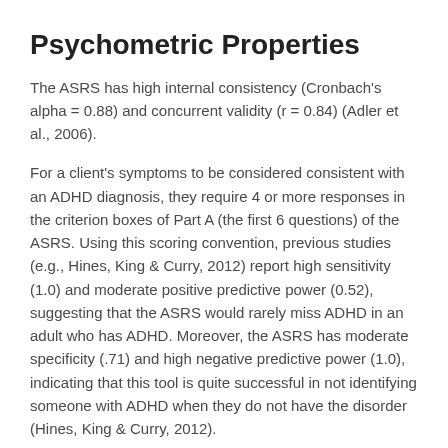Psychometric Properties
The ASRS has high internal consistency (Cronbach's alpha = 0.88) and concurrent validity (r = 0.84) (Adler et al., 2006).
For a client's symptoms to be considered consistent with an ADHD diagnosis, they require 4 or more responses in the criterion boxes of Part A (the first 6 questions) of the ASRS. Using this scoring convention, previous studies (e.g., Hines, King & Curry, 2012) report high sensitivity (1.0) and moderate positive predictive power (0.52), suggesting that the ASRS would rarely miss ADHD in an adult who has ADHD. Moreover, the ASRS has moderate specificity (.71) and high negative predictive power (1.0), indicating that this tool is quite successful in not identifying someone with ADHD when they do not have the disorder (Hines, King & Curry, 2012).
Adler et al. (2018) found that in a sample of 22,397 randomly selected adults in the USA that the mean total score was 2.0